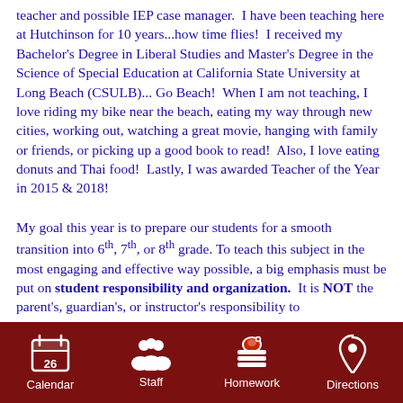teacher and possible IEP case manager.  I have been teaching here at Hutchinson for 10 years...how time flies!  I received my Bachelor's Degree in Liberal Studies and Master's Degree in the Science of Special Education at California State University at Long Beach (CSULB)... Go Beach!  When I am not teaching, I love riding my bike near the beach, eating my way through new cities, working out, watching a great movie, hanging with family or friends, or picking up a good book to read!  Also, I love eating donuts and Thai food!  Lastly, I was awarded Teacher of the Year in 2015 & 2018!
My goal this year is to prepare our students for a smooth transition into 6th, 7th, or 8th grade. To teach this subject in the most engaging and effective way possible, a big emphasis must be put on student responsibility and organization.  It is NOT the parent's, guardian's, or instructor's responsibility to
Calendar  Staff  Homework  Directions